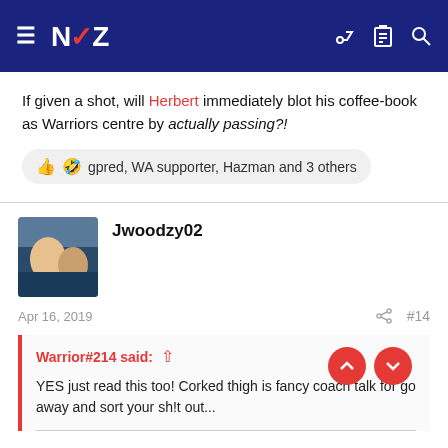[Figure (screenshot): Website header with dark navy blue background showing hamburger menu icon, NZ Warriors logo (NZ text with V-shaped chevron), and icons for key, clipboard, and search on the right]
If given a shot, will Herbert immediately blot his coffee-book as Warriors centre by actually passing?!
👍 🤣 gpred, WA supporter, Hazman and 3 others
Jwoodzy02
Apr 16, 2019
#14
Warrior#214 said:
YES just read this too! Corked thigh is fancy coach talk for go away and sort your sh!t out...